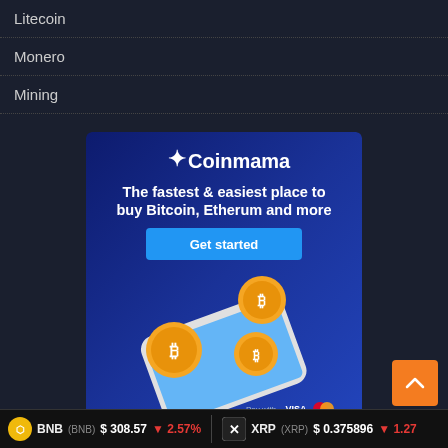Litecoin
Monero
Mining
[Figure (infographic): Coinmama advertisement banner showing logo, headline 'The fastest & easiest place to buy Bitcoin, Etherum and more', a 'Get started' button, illustrated Bitcoin coins on a smartphone, and 'Pay with VISA' text at the bottom.]
BNB (BNB) $308.57 ▼2.57%   XRP (XRP) $0.375896 ▼1.27